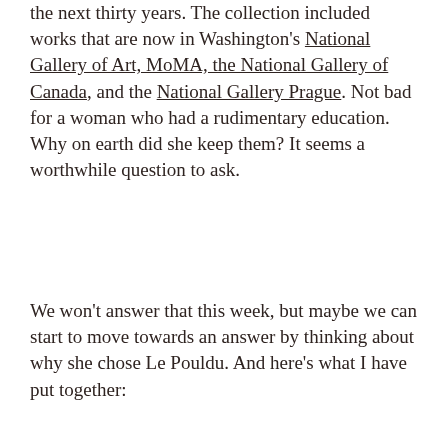the next thirty years. The collection included works that are now in Washington's National Gallery of Art, MoMA, the National Gallery of Canada, and the National Gallery Prague. Not bad for a woman who had a rudimentary education. Why on earth did she keep them? It seems a worthwhile question to ask.
We won't answer that this week, but maybe we can start to move towards an answer by thinking about why she chose Le Pouldu. And here's what I have put together:
Clohars-Carnoët Census, 1886, List of names by commune, image 41. Finistère Archives.